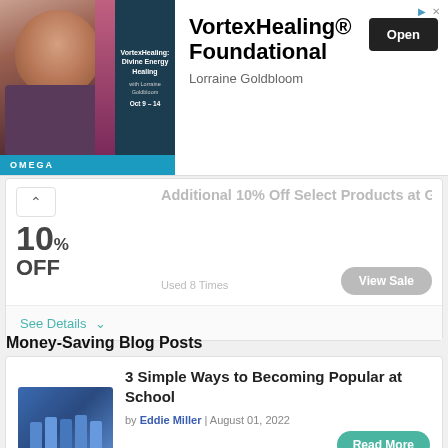[Figure (illustration): Ad banner for VortexHealing Foundational with photo of Lorraine Goldbloom, OMEGA branding, Open button]
VortexHealing: Divine Energy Healing with Lorraine Goldbloom Oct 9 – 14
VortexHealing® Foundational
Lorraine Goldbloom
10% OFF
Additional 10% Off Select Products at GSMone
Used 8 Times
See Details ∨
Money-Saving Blog Posts
[Figure (photo): Students in blue school uniforms standing together]
3 Simple Ways to Becoming Popular at School
by Eddie Miller | August 01, 2022